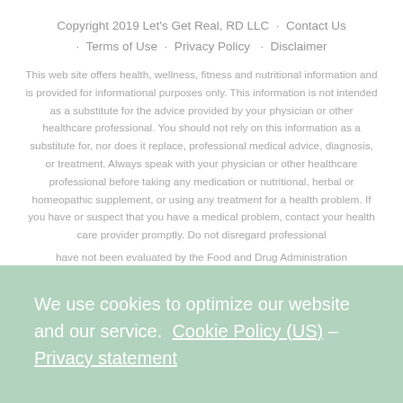Copyright 2019 Let's Get Real, RD LLC  ·  Contact Us  ·  Terms of Use  ·  Privacy Policy  ·  Disclaimer
This web site offers health, wellness, fitness and nutritional information and is provided for informational purposes only. This information is not intended as a substitute for the advice provided by your physician or other healthcare professional. You should not rely on this information as a substitute for, nor does it replace, professional medical advice, diagnosis, or treatment. Always speak with your physician or other healthcare professional before taking any medication or nutritional, herbal or homeopathic supplement, or using any treatment for a health problem. If you have or suspect that you have a medical problem, contact your health care provider promptly. Do not disregard professional
We use cookies to optimize our website and our service.  Cookie Policy (US) – Privacy statement
Accept
have not been evaluated by the Food and Drug Administration